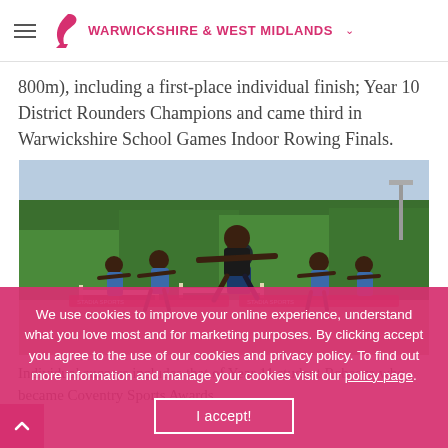WARWICKSHIRE & WEST MIDLANDS
800m), including a first-place individual finish; Year 10 District Rounders Champions and came third in Warwickshire School Games Indoor Rowing Finals.
[Figure (photo): Girls competing in hurdles race on an outdoor athletics track, with trees and floodlights in the background.]
Individual success includes that of Year 11 student Rebecca who became Coventry Sports Awards
We use cookies to improve your online experience, understand what you love most and for marketing purposes. By clicking accept you agree to the use of our cookies and privacy policy. To find out more information and manage your cookies visit our policy page.
I accept!